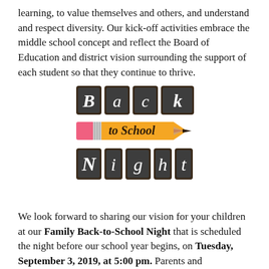learning, to value themselves and others, and understand and respect diversity. Our kick-off activities embrace the middle school concept and reflect the Board of Education and district vision surrounding the support of each student so that they continue to thrive.
[Figure (illustration): Back to School Night logo: three rows — top row shows chalkboard tiles spelling 'Back', middle row has a pencil graphic with 'to School' text, bottom row shows chalkboard tiles spelling 'Night'.]
We look forward to sharing our vision for your children at our Family Back-to-School Night that is scheduled the night before our school year begins, on Tuesday, September 3, 2019, at 5:00 pm. Parents and